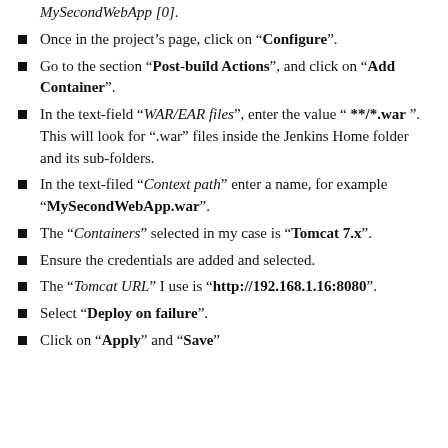MySecondWebApp [0].
Once in the project's page, click on "Configure".
Go to the section "Post-build Actions", and click on "Add Container".
In the text-field "WAR/EAR files", enter the value " **/*.war ". This will look for ".war" files inside the Jenkins Home folder and its sub-folders.
In the text-filed "Context path" enter a name, for example "MySecondWebApp.war".
The "Containers" selected in my case is "Tomcat 7.x".
Ensure the credentials are added and selected.
The "Tomcat URL" I use is "http://192.168.1.16:8080".
Select "Deploy on failure".
Click on "Apply" and "Save"